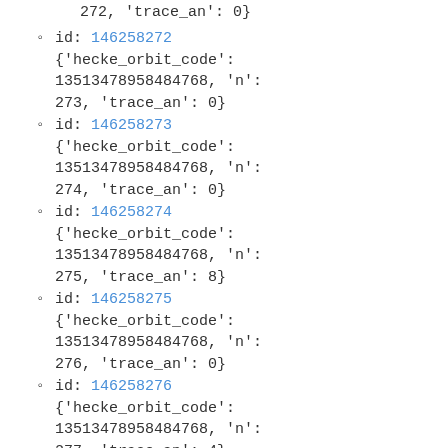272, 'trace_an': 0}
id: 146258272
{'hecke_orbit_code': 13513478958484768, 'n': 273, 'trace_an': 0}
id: 146258273
{'hecke_orbit_code': 13513478958484768, 'n': 274, 'trace_an': 0}
id: 146258274
{'hecke_orbit_code': 13513478958484768, 'n': 275, 'trace_an': 8}
id: 146258275
{'hecke_orbit_code': 13513478958484768, 'n': 276, 'trace_an': 0}
id: 146258276
{'hecke_orbit_code': 13513478958484768, 'n': 277, 'trace_an': 4}